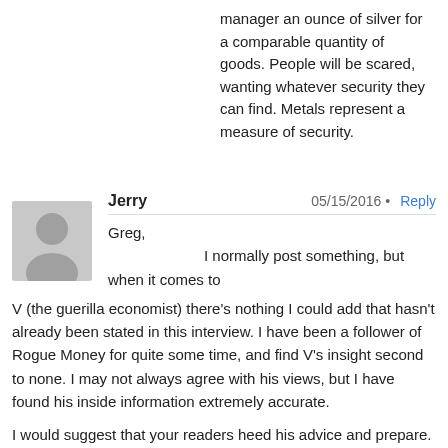manager an ounce of silver for a comparable quantity of goods. People will be scared, wanting whatever security they can find. Metals represent a measure of security.
Jerry  05/15/2016 • Reply
Greg,
I normally post something, but when it comes to V (the guerilla economist) there's nothing I could add that hasn't already been stated in this interview. I have been a follower of Rogue Money for quite some time, and find V's insight second to none. I may not always agree with his views, but I have found his inside information extremely accurate.

I would suggest that your readers heed his advice and prepare. Our Constitution, and our very way of life is literally "hanging by a thread" of unsustainable debt. At some point (probably when paper contracts can't be delivered by the LBMA ) the weight of that debt cut the thread and send the dollar into a death spiral that cannot be stopped by market manipulation. This is not